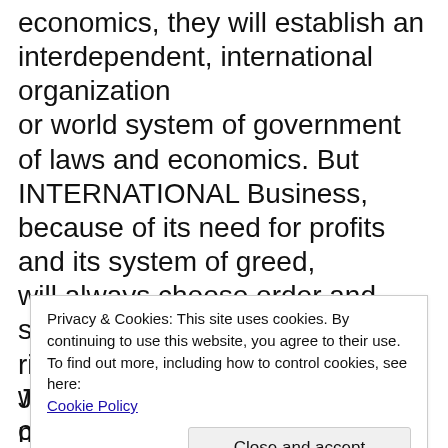economics, they will establish an interdependent, international organization or world system of government of laws and economics. But INTERNATIONAL Business, because of its need for profits and its system of greed, will always choose order and stability over morality and righteousness. Just as the Krupps arms manufacturers in
Privacy & Cookies: This site uses cookies. By continuing to use this website, you agree to their use. To find out more, including how to control cookies, see here: Cookie Policy
Close and accept
with them, so that just in case Hitler did win, those business